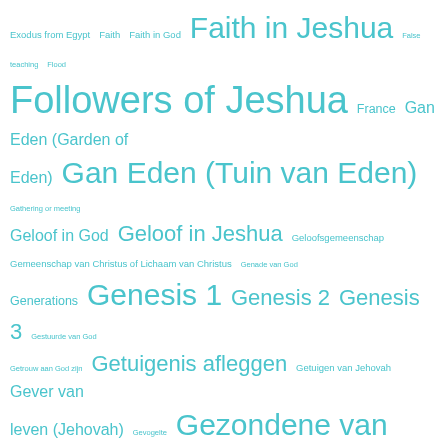Exodus from Egypt Faith Faith in God Faith in Jeshua False teaching Flood Followers of Jeshua France Gan Eden (Garden of Eden) Gan Eden (Tuin van Eden) Gathering or meeting Geloof in God Geloof in Jeshua Geloofsgemeenschap Gemeenschap van Christus of Lichaam van Christus Genade van God Generations Genesis 1 Genesis 2 Genesis 3 Gestuurde van God Getrouw aan God zijn Getuigenis afleggen Getuigen van Jehovah Gever van leven (Jehovah) Gevogelte Gezondene van God Gids voor leven (Bijbel of Woord van God) Glory of God God boven alle goden Goddelijke Maker Goddelijke Schepper Goede Nieuws Goed nieuws verkondigen Gog Good News Goyim of niet-joden Goyim or non-Jews Grace of Salvation Grace of the Elohim God of gods Haaretz (aarde-grond) Haaretz (earth) HaBri'ah (de Schepping) HaBri'ah (the Creation) haEmes = de Waarheid of Bijbelse Waarheid Halakha (the way to go) Halakhah (Jewish halacha or Jewish Law) Hanokh or